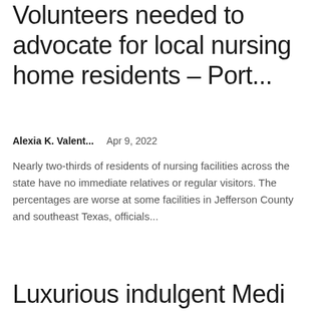Volunteers needed to advocate for local nursing home residents – Port...
Alexia K. Valent...    Apr 9, 2022
Nearly two-thirds of residents of nursing facilities across the state have no immediate relatives or regular visitors. The percentages are worse at some facilities in Jefferson County and southeast Texas, officials...
Luxurious indulgent Medi Spa